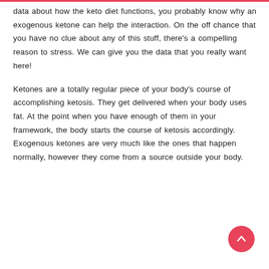data about how the keto diet functions, you probably know why an exogenous ketone can help the interaction. On the off chance that you have no clue about any of this stuff, there's a compelling reason to stress. We can give you the data that you really want here!

Ketones are a totally regular piece of your body's course of accomplishing ketosis. They get delivered when your body uses fat. At the point when you have enough of them in your framework, the body starts the course of ketosis accordingly. Exogenous ketones are very much like the ones that happen normally, however they come from a source outside your body.